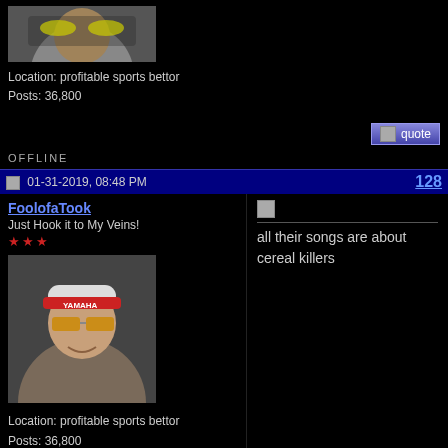[Figure (photo): Avatar photo of user wearing yellow-tinted sunglasses, partial view at top of page]
Location: profitable sports bettor
Posts: 36,800
quote button
OFFLINE
01-31-2019, 08:48 PM
128
FoolofaTook
Just Hook it to My Veins!
[Figure (photo): Avatar photo of user wearing Yamaha cap and yellow-tinted sunglasses, smiling]
Location: profitable sports bettor
Posts: 36,800
all their songs are about cereal killers
quote button
OFFLINE
02-01-2019, 09:47 AM
Mals Marola
Minion of Satan